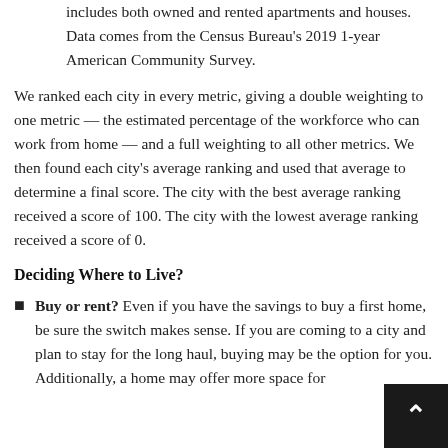includes both owned and rented apartments and houses. Data comes from the Census Bureau’s 2019 1-year American Community Survey.
We ranked each city in every metric, giving a double weighting to one metric — the estimated percentage of the workforce who can work from home — and a full weighting to all other metrics. We then found each city’s average ranking and used that average to determine a final score. The city with the best average ranking received a score of 100. The city with the lowest average ranking received a score of 0.
Deciding Where to Live?
Buy or rent? Even if you have the savings to buy a first home, be sure the switch makes sense. If you are coming to a city and plan to stay for the long haul, buying may be the option for you. Additionally, a home may offer more space for